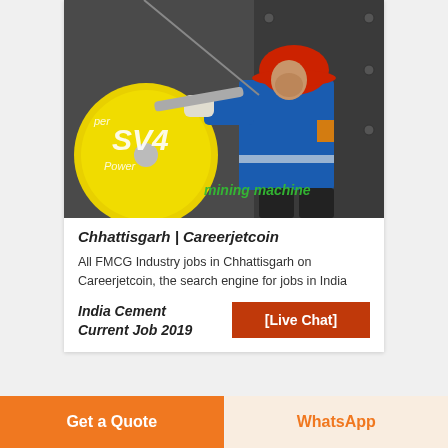[Figure (photo): Worker in blue jumpsuit and red hard hat using a wrench on industrial mining machinery with a yellow disc labeled SV4. Green italic text overlay reads 'mining machine'.]
Chhattisgarh | Careerjetcoin
All FMCG Industry jobs in Chhattisgarh on Careerjetcoin, the search engine for jobs in India
India Cement Current Job 2019
[Live Chat]
Get a Quote
WhatsApp